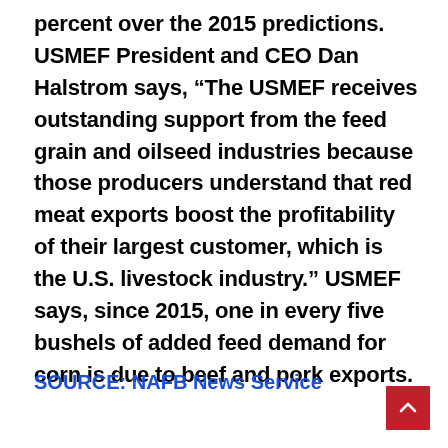percent over the 2015 predictions. USMEF President and CEO Dan Halstrom says, “The USMEF receives outstanding support from the feed grain and oilseed industries because those producers understand that red meat exports boost the profitability of their largest customer, which is the U.S. livestock industry.” USMEF says, since 2015, one in every five bushels of added feed demand for corn is due to beef and pork exports.
SOURCE: NAFB News Service